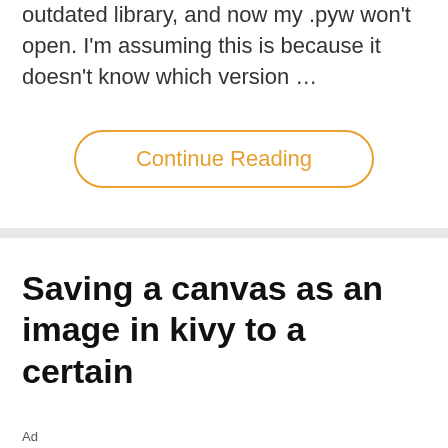outdated library, and now my .pyw won't open. I'm assuming this is because it doesn't know which version …
Continue Reading
Saving a canvas as an image in kivy to a certain
[Figure (photo): Advertisement banner showing SAP branding with a smiling man wearing glasses and a yellow shirt, with text 'Get SAP and partner solutions for: data management, data integration, data cleansing, and data modeling. Try and Buy on SAP Store.' Alongside: 'Run data anywhere' with play and close icons.]
Ad